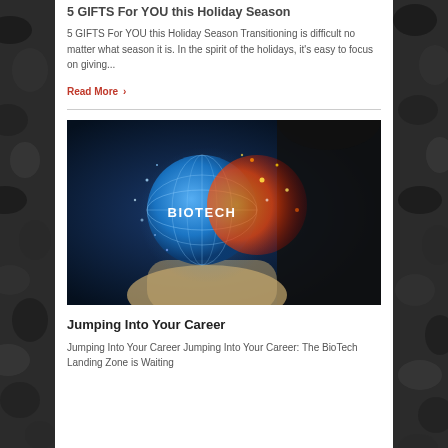5 GIFTS For YOU this Holiday Season
5 GIFTS For YOU this Holiday Season Transitioning is difficult no matter what season it is. In the spirit of the holidays, it's easy to focus on giving...
Read More >
[Figure (photo): A hand holding a glowing blue and orange biotech sphere with the word BIOTECH in the center, set against a dark blue background with a suited figure in the background]
Jumping Into Your Career
Jumping Into Your Career Jumping Into Your Career: The BioTech Landing Zone is Waiting